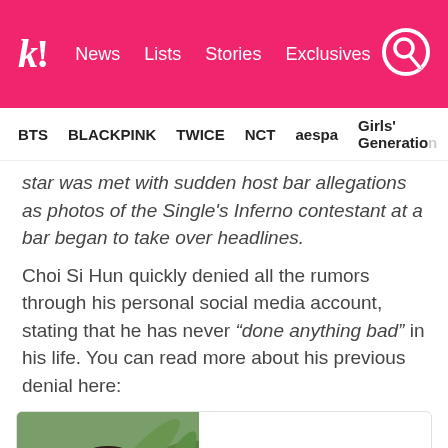k! News  Lists  Stories  Exclusives
BTS  BLACKPINK  TWICE  NCT  aespa  Girls' Generation
star was met with sudden host bar allegations as photos of the Single's Inferno contestant at a bar began to take over headlines.
Choi Si Hun quickly denied all the rumors through his personal social media account, stating that he has never “done anything bad” in his life. You can read more about his previous denial here:
[Figure (photo): Photo of Choi Si Hun standing in front of tropical plants]
“Single’s Inferno” Choi Si Hun Clarifies Rumors About Having Worked In A Host Bar